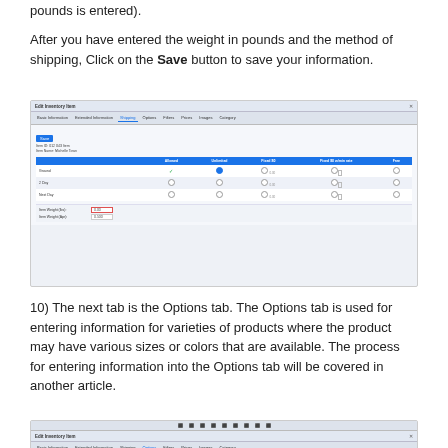pounds is entered).
After you have entered the weight in pounds and the method of shipping, Click on the Save button to save your information.
[Figure (screenshot): Screenshot of Edit Inventory Item dialog showing Shipping tab with a table of shipping methods (Ground, 2 Day, Next Day) with columns for Allowed, Unlimited, Fixed $0, Fixed $0 w/min rate, Free. Item Weight (lbs) field highlighted in red showing 0.00, and Item Weight (Apr) showing 0.500.]
10)  The next tab is the Options tab.  The Options tab is used for entering information for varieties of products where the product may have various sizes or colors that are available.  The process for entering information into the Options tab will be covered in another article.
[Figure (screenshot): Partial screenshot of Edit Inventory Item dialog showing the Options tab selected in the tab navigation.]